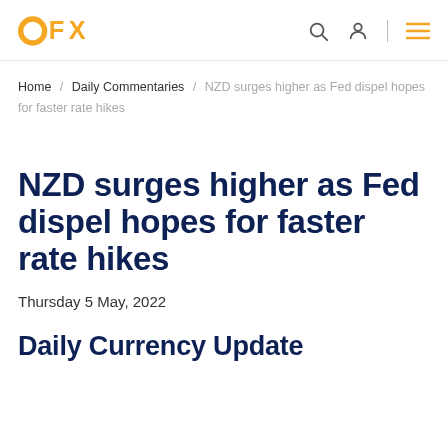OFX
Home / Daily Commentaries / NZD surges higher as Fed dispel hopes for faster rate hikes
NZD surges higher as Fed dispel hopes for faster rate hikes
Thursday 5 May, 2022
Daily Currency Update